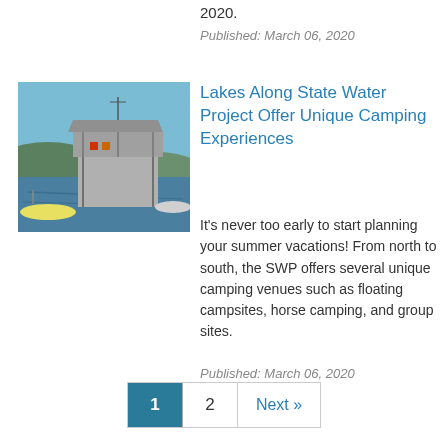2020.
Published: March 06, 2020
[Figure (photo): A floating dock or marina structure with a two-level platform on water, with a small boat nearby and hills in the background.]
Lakes Along State Water Project Offer Unique Camping Experiences
It’s never too early to start planning your summer vacations! From north to south, the SWP offers several unique camping venues such as floating campsites, horse camping, and group sites.
Published: March 06, 2020